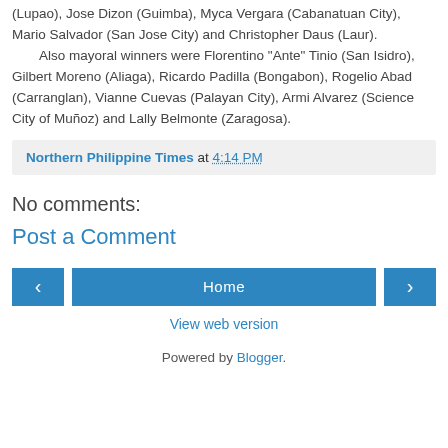(Lupao), Jose Dizon (Guimba), Myca Vergara (Cabanatuan City), Mario Salvador (San Jose City) and Christopher Daus (Laur). Also mayoral winners were Florentino "Ante" Tinio (San Isidro), Gilbert Moreno (Aliaga), Ricardo Padilla (Bongabon), Rogelio Abad (Carranglan), Vianne Cuevas (Palayan City), Armi Alvarez (Science City of Muñoz) and Lally Belmonte (Zaragosa).
Northern Philippine Times at 4:14 PM
No comments:
Post a Comment
[Figure (other): Navigation buttons: left arrow, Home, right arrow]
View web version
Powered by Blogger.